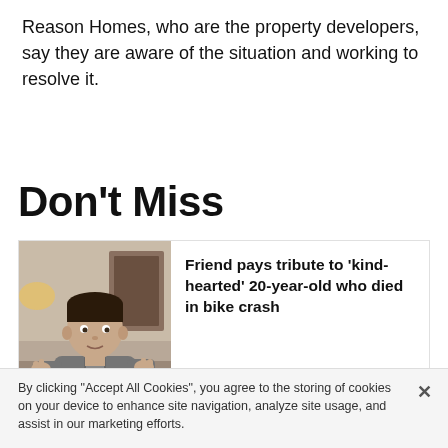Reason Homes, who are the property developers, say they are aware of the situation and working to resolve it.
Don't Miss
[Figure (photo): Young man making hand gestures with fingers pointing at himself, wearing a grey hoodie, indoor setting]
Friend pays tribute to 'kind-hearted' 20-year-old who died in bike crash
OWEN SENNITT
[Figure (photo): Partial image of next article card, light blue sky background]
By clicking "Accept All Cookies", you agree to the storing of cookies on your device to enhance site navigation, analyze site usage, and assist in our marketing efforts.